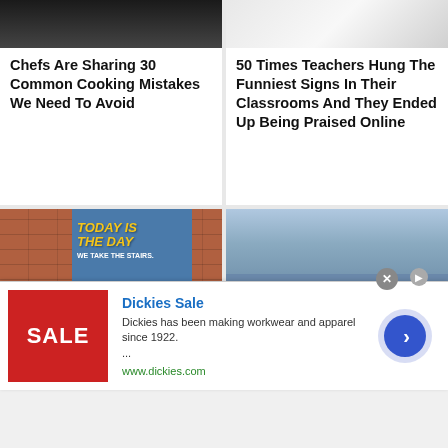[Figure (photo): Top portion of cooking image (pan/dark kitchen surface)]
Chefs Are Sharing 30 Common Cooking Mistakes We Need To Avoid
[Figure (photo): Top portion of classroom/handwriting image]
50 Times Teachers Hung The Funniest Signs In Their Classrooms And They Ended Up Being Praised Online
[Figure (photo): Photo of a motivational sign on a door reading 'TODAY IS THE DAY WE TAKE THE STAIRS.' with a person in a wheelchair]
50 Times Signs Were So Funny People Had
[Figure (photo): Photo of a kid lying on subway seats with feet up, looking at a phone]
30 Times Brats Got
Dickies Sale
Dickies has been making workwear and apparel since 1922. ...
www.dickies.com